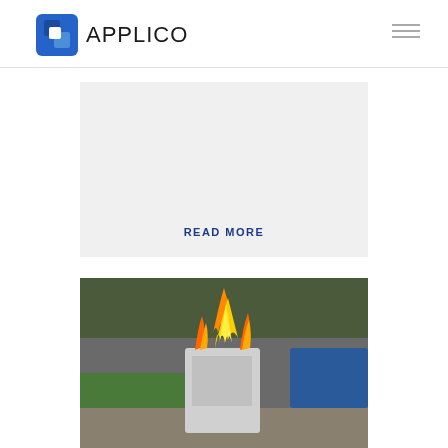APPLICO
[Figure (other): Gray content card placeholder area]
READ MORE
[Figure (photo): Photo of a computer tower on fire outdoors, with flames rising from the top, grass and stone wall in background]